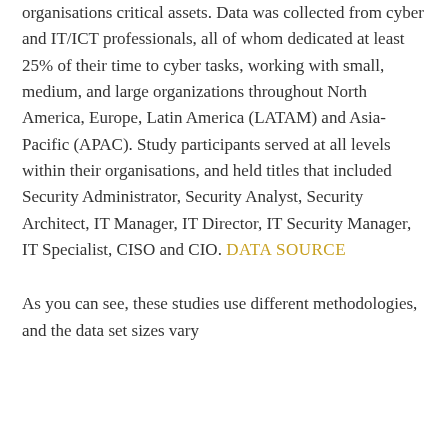organisations critical assets. Data was collected from cyber and IT/ICT professionals, all of whom dedicated at least 25% of their time to cyber tasks, working with small, medium, and large organizations throughout North America, Europe, Latin America (LATAM) and Asia-Pacific (APAC). Study participants served at all levels within their organisations, and held titles that included Security Administrator, Security Analyst, Security Architect, IT Manager, IT Director, IT Security Manager, IT Specialist, CISO and CIO. DATA SOURCE
As you can see, these studies use different methodologies, and the data set sizes vary